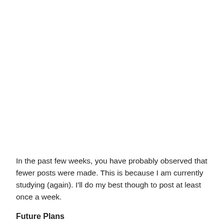In the past few weeks, you have probably observed that fewer posts were made. This is because I am currently studying (again). I'll do my best though to post at least once a week.
Future Plans